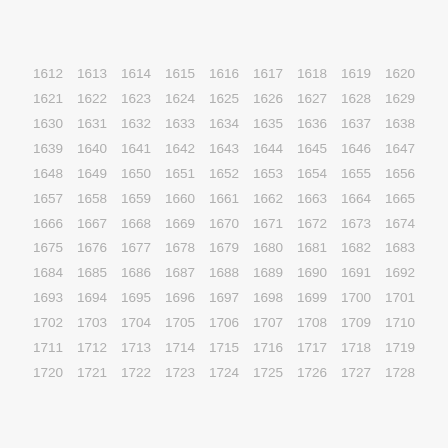1612 1613 1614 1615 1616 1617 1618 1619 1620 1621 1622 1623 1624 1625 1626 1627 1628 1629 1630 1631 1632 1633 1634 1635 1636 1637 1638 1639 1640 1641 1642 1643 1644 1645 1646 1647 1648 1649 1650 1651 1652 1653 1654 1655 1656 1657 1658 1659 1660 1661 1662 1663 1664 1665 1666 1667 1668 1669 1670 1671 1672 1673 1674 1675 1676 1677 1678 1679 1680 1681 1682 1683 1684 1685 1686 1687 1688 1689 1690 1691 1692 1693 1694 1695 1696 1697 1698 1699 1700 1701 1702 1703 1704 1705 1706 1707 1708 1709 1710 1711 1712 1713 1714 1715 1716 1717 1718 1719 1720 1721 1722 1723 1724 1725 1726 1727 1728